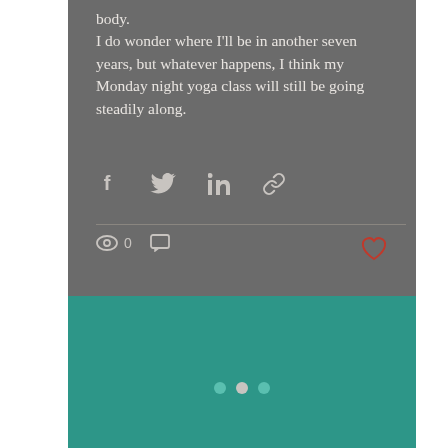body.
I do wonder where I'll be in another seven years, but whatever happens, I think my Monday night yoga class will still be going steadily along.
[Figure (infographic): Social share icons: Facebook, Twitter, LinkedIn, link/chain icon]
[Figure (infographic): Post stats bar with eye/views icon showing 0, comment icon, and heart/like icon in red on the right]
[Figure (infographic): Teal footer section with three carousel pagination dots: inactive, active, inactive]